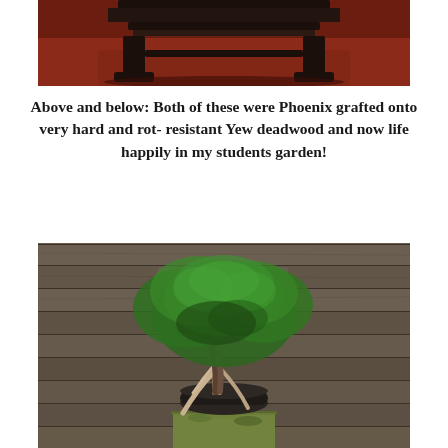[Figure (photo): Top portion of a photo showing a dark wooden bonsai stand/table against a reddish-brown background floor]
Above and below: Both of these were Phoenix grafted onto very hard and rot- resistant Yew deadwood and now life happily in my students garden!
[Figure (photo): A bonsai tree with dense green foliage in a dark round pot, placed on a moss-covered stone pedestal, against a background of horizontal wooden fence planks in grey-brown tones]